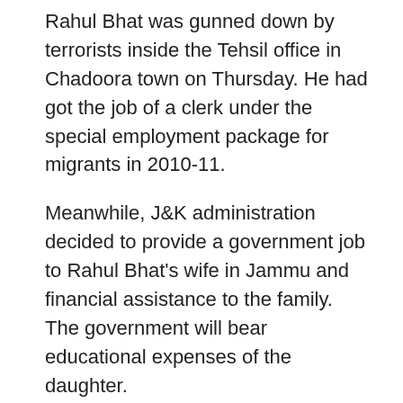Rahul Bhat was gunned down by terrorists inside the Tehsil office in Chadoora town on Thursday. He had got the job of a clerk under the special employment package for migrants in 2010-11.
Meanwhile, J&K administration decided to provide a government job to Rahul Bhat's wife in Jammu and financial assistance to the family. The government will bear educational expenses of the daughter.
As the mortal remains of Rahul Bhat reached his home in Durga Nagar area of Jammu on Friday morning, his relatives wept inconsolably.
Rahul Bhat's wife and daughter, who were putting up with him at Sheikhpora migrant colony in Budgam, accompanied the body as it arrived here from Kashmir.